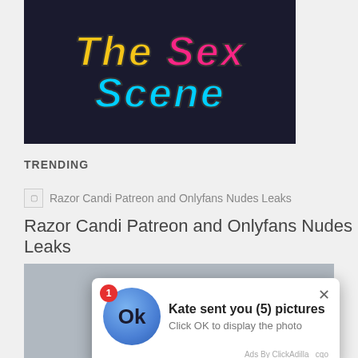[Figure (illustration): Banner image with dark background showing text 'The Sex Scene' in large stylized font: 'The' in yellow, 'Sex' in pink/magenta, 'Scene' in cyan/light blue, italic and bold]
TRENDING
Razor Candi Patreon and Onlyfans Nudes Leaks
Razor Candi Patreon and Onlyfans Nudes Leaks
[Figure (photo): Partial photo visible behind popup overlay]
[Figure (screenshot): Popup notification from ClickAdilla ad network: badge showing '1', blue circle with Ok text, title 'Kate sent you (5) pictures', subtitle 'Click OK to display the photo', footer 'Ads By ClickAdilla cqo']